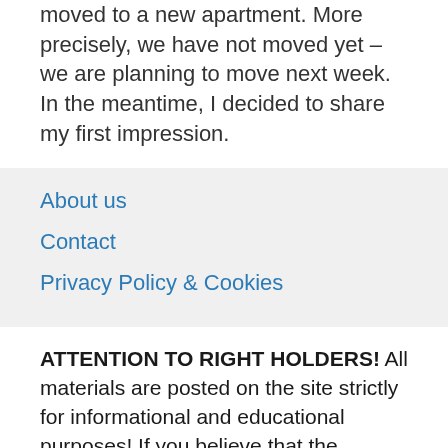moved to a new apartment. More precisely, we have not moved yet – we are planning to move next week. In the meantime, I decided to share my first impression.
About us
Contact
Privacy Policy & Cookies
ATTENTION TO RIGHT HOLDERS! All materials are posted on the site strictly for informational and educational purposes! If you believe that the posting of any material infringes your copyright, be sure to contact us through the contact form and your